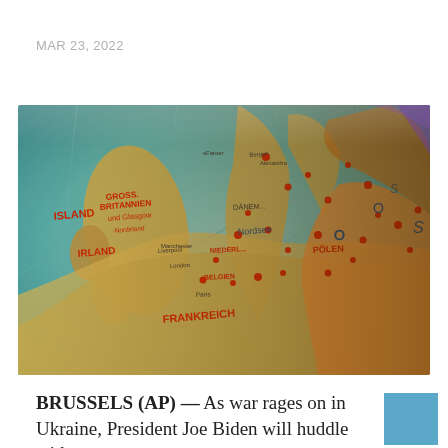MAR 23, 2022
[Figure (map): Vintage globe map showing Western and Central Europe with countries labeled in German, including GROSS BRITANNIEN, IRLAND, FRANKREICH, NIEDERLANDE, BELGIEN, and other regions. The map has a warm teal/golden color palette with red and dark lettering.]
BRUSSELS (AP) — As war rages on in Ukraine, President Joe Biden will huddle with